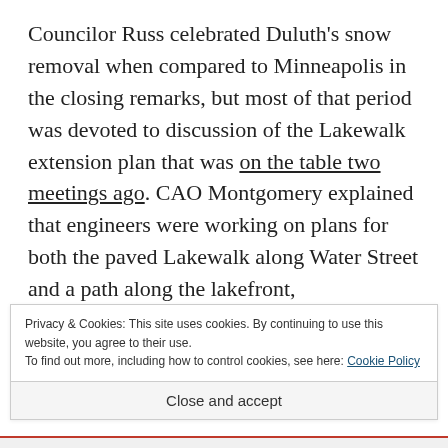Councilor Russ celebrated Duluth's snow removal when compared to Minneapolis in the closing remarks, but most of that period was devoted to discussion of the Lakewalk extension plan that was on the table two meetings ago. CAO Montgomery explained that engineers were working on plans for both the paved Lakewalk along Water Street and a path along the lakefront,
Privacy & Cookies: This site uses cookies. By continuing to use this website, you agree to their use.
To find out more, including how to control cookies, see here: Cookie Policy
Close and accept